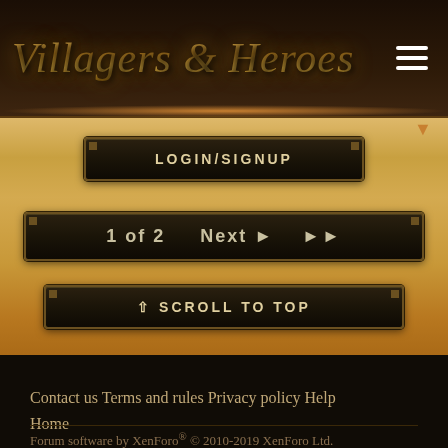Villagers & Heroes
LOGIN/SIGNUP
1 of 2   Next ▶   ▶▶
↑ SCROLL TO TOP
Contact us   Terms and rules   Privacy policy   Help   Home
Forum software by XenForo® © 2010-2019 XenForo Ltd.